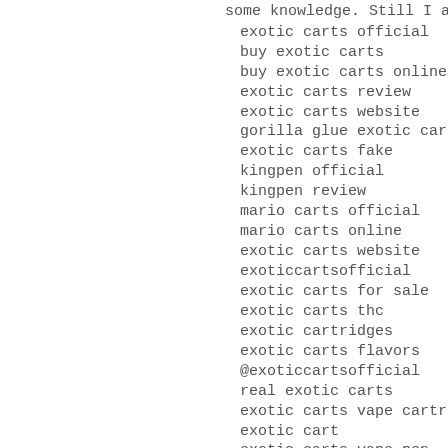some knowledge. Still I am out to speak and propose yo
exotic carts official
buy exotic carts
buy exotic carts online.
exotic carts review
exotic carts website
gorilla glue exotic carts.
exotic carts fake
kingpen official
kingpen review
mario carts official
mario carts online
exotic carts website
exoticcartsofficial
exotic carts for sale
exotic carts thc
exotic cartridges
exotic carts flavors
@exoticcartsofficial
real exotic carts
exotic carts vape cartridges
exotic cart
exotic carts vape pen
mario kart cartridges